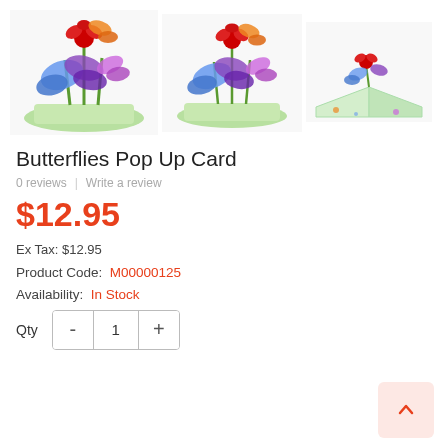[Figure (photo): Three product images of a Butterflies Pop Up Card showing different angles: front view with colorful butterflies and flowers, front view slightly zoomed, and an open side view showing the 3D pop-up effect on a green background.]
Butterflies Pop Up Card
0 reviews  |  Write a review
$12.95
Ex Tax: $12.95
Product Code:  M00000125
Availability:  In Stock
Qty  -  1  +